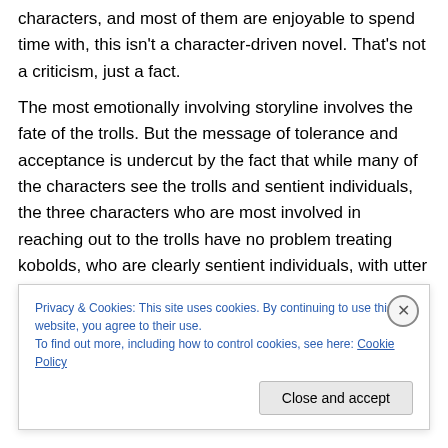characters, and most of them are enjoyable to spend time with, this isn't a character-driven novel.  That's not a criticism, just a fact.
The most emotionally involving storyline involves the fate of the trolls.  But the message of tolerance and acceptance is undercut by the fact that while many of the characters see the trolls and sentient individuals, the three characters who are most involved in reaching out to the trolls have no problem treating kobolds, who are clearly sentient individuals, with utter contempt.  And they don't
Privacy & Cookies: This site uses cookies. By continuing to use this website, you agree to their use.
To find out more, including how to control cookies, see here: Cookie Policy
Close and accept